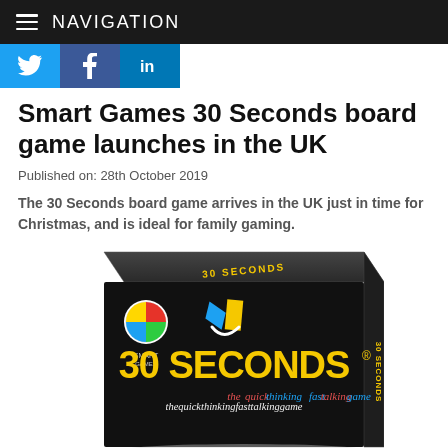NAVIGATION
[Figure (screenshot): Social media share buttons: Twitter (blue bird icon), Facebook (blue f icon), LinkedIn (blue in icon)]
Smart Games 30 Seconds board game launches in the UK
Published on: 28th October 2019
The 30 Seconds board game arrives in the UK just in time for Christmas, and is ideal for family gaming.
[Figure (photo): 30 Seconds board game box by Smart Games. Black box with yellow '30 SECONDS' logo text, blue and yellow abstract face graphic, and tagline 'thequickthinkingfasttalkinggame'.]